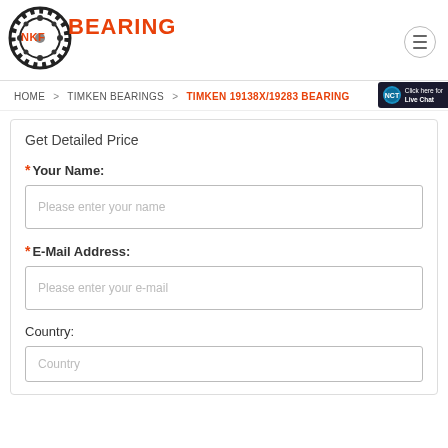[Figure (logo): NKF Bearing logo - circular gear/bearing icon with red NKF BEARING text]
[Figure (other): Hamburger menu button - circle with three horizontal lines]
[Figure (other): Live chat badge - dark background with chat icon and 'Click here for Live Chat' text]
HOME > TIMKEN BEARINGS > TIMKEN 19138X/19283 BEARING
Get Detailed Price
* Your Name:
Please enter your name
* E-Mail Address:
Please enter your e-mail
Country:
Country